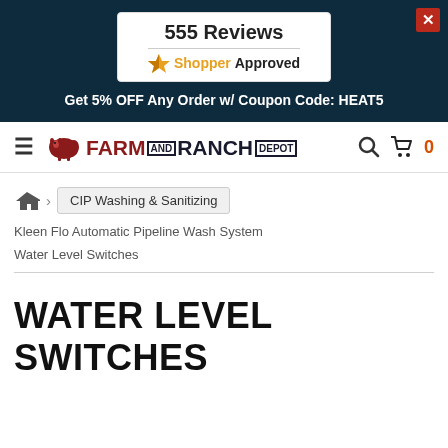555 Reviews
[Figure (logo): ShopperApproved logo with orange star]
Get 5% OFF Any Order w/ Coupon Code: HEAT5
[Figure (logo): Farm and Ranch Depot logo with cow icon]
0
CIP Washing & Sanitizing
Kleen Flo Automatic Pipeline Wash System
Water Level Switches
WATER LEVEL SWITCHES